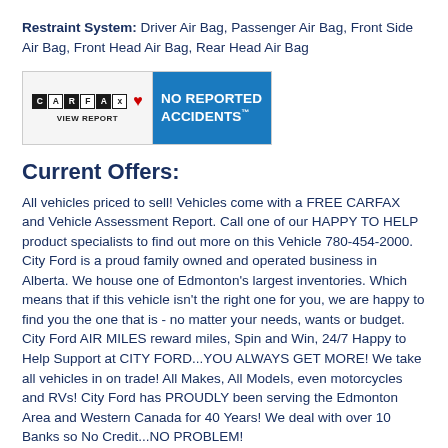Restraint System: Driver Air Bag, Passenger Air Bag, Front Side Air Bag, Front Head Air Bag, Rear Head Air Bag
[Figure (logo): CARFAX Canada badge showing NO REPORTED ACCIDENTS with VIEW REPORT link]
Current Offers:
All vehicles priced to sell! Vehicles come with a FREE CARFAX and Vehicle Assessment Report. Call one of our HAPPY TO HELP product specialists to find out more on this Vehicle 780-454-2000. City Ford is a proud family owned and operated business in Alberta. We house one of Edmonton's largest inventories. Which means that if this vehicle isn't the right one for you, we are happy to find you the one that is - no matter your needs, wants or budget. City Ford AIR MILES reward miles, Spin and Win, 24/7 Happy to Help Support at CITY FORD...YOU ALWAYS GET MORE! We take all vehicles in on trade! All Makes, All Models, even motorcycles and RVs! City Ford has PROUDLY been serving the Edmonton Area and Western Canada for 40 Years! We deal with over 10 Banks so No Credit...NO PROBLEM!